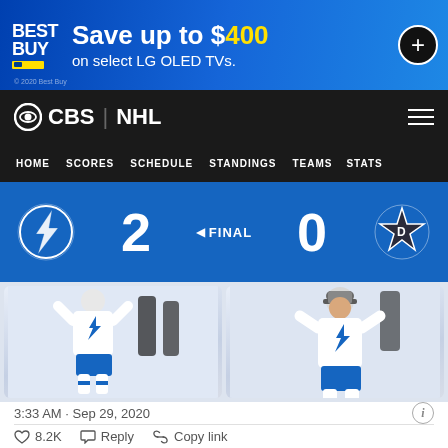[Figure (screenshot): Best Buy advertisement banner: Save up to $400 on select LG OLED TVs.]
CBS | NHL
HOME   SCORES   SCHEDULE   STANDINGS   TEAMS   STATS
| Team | Score | Status | Score | Team |
| --- | --- | --- | --- | --- |
| Tampa Bay Lightning | 2 | ◄ FINAL | 0 | Dallas Stars |
[Figure (photo): Two photos side by side of Tampa Bay Lightning players celebrating on ice, wearing white jerseys with lightning bolt logo]
3:33 AM · Sep 29, 2020
♡  8.2K   Reply   Copy link